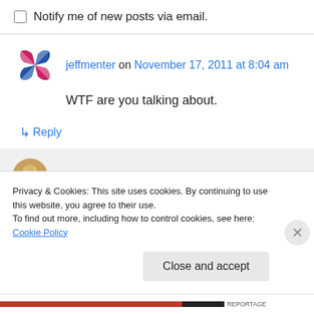Notify me of new posts via email.
jeffmenter on November 17, 2011 at 8:04 am
WTF are you talking about.
↳ Reply
Zac on November 17, 2011 at 8:45 am
This is the problem with churning out a post
Privacy & Cookies: This site uses cookies. By continuing to use this website, you agree to their use. To find out more, including how to control cookies, see here: Cookie Policy
Close and accept